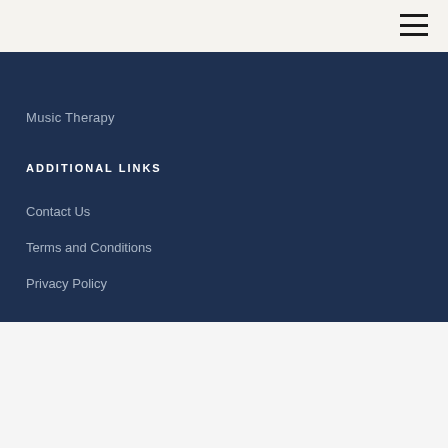Music Therapy
ADDITIONAL LINKS
Contact Us
Terms and Conditions
Privacy Policy
We use cookies on our website to give you the most relevant experience by remembering your preferences and repeat visits. By clicking “Accept All”, you consent to the use of ALL the cookies. However, you may visit “Cookie Settings” to provide a controlled consent.
Cookie Settings  Accept All